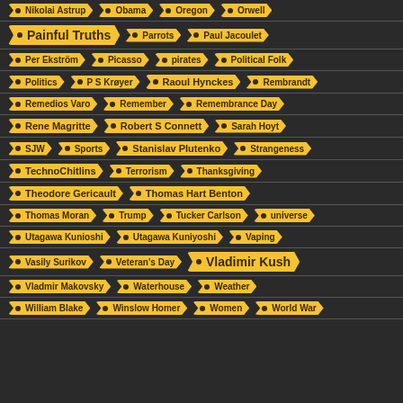Nikolai Astrup
Obama
Oregon
Orwell
Painful Truths
Parrots
Paul Jacoulet
Per Ekström
Picasso
pirates
Political Folk
Politics
P S Krøyer
Raoul Hynckes
Rembrandt
Remedios Varo
Remember
Remembrance Day
Rene Magritte
Robert S Connett
Sarah Hoyt
SJW
Sports
Stanislav Plutenko
Strangeness
TechnoChitlins
Terrorism
Thanksgiving
Theodore Gericault
Thomas Hart Benton
Thomas Moran
Trump
Tucker Carlson
universe
Utagawa Kunioshi
Utagawa Kuniyoshi
Vaping
Vasily Surikov
Veteran's Day
Vladimir Kush
Vladmir Makovsky
Waterhouse
Weather
William Blake
Winslow Homer
Women
World War